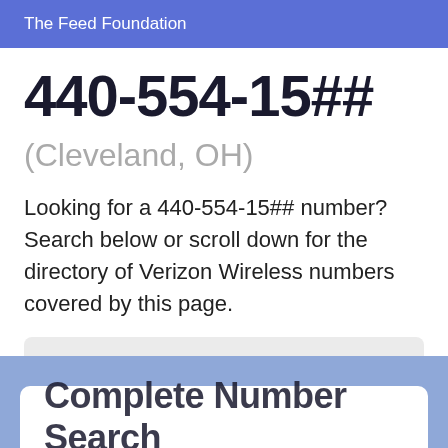The Feed Foundation
440-554-15##
(Cleveland, OH)
Looking for a 440-554-15## number? Search below or scroll down for the directory of Verizon Wireless numbers covered by this page.
440 / 440-554 / 440-554-15
Complete Number Search